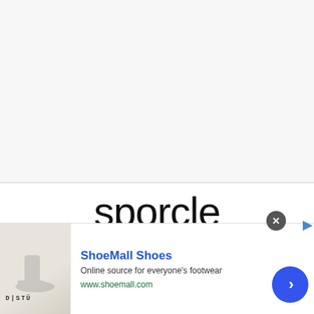[Figure (logo): Sporcle logo with 'est. 2007' tagline on white/light background]
sporcle
est. 2007
[Figure (illustration): Advertisement banner for ShoeMall Shoes showing D|STU boot image, ShoeMall Shoes title, 'Online source for everyone's footwear', www.shoemall.com URL, close button, and navigation arrow]